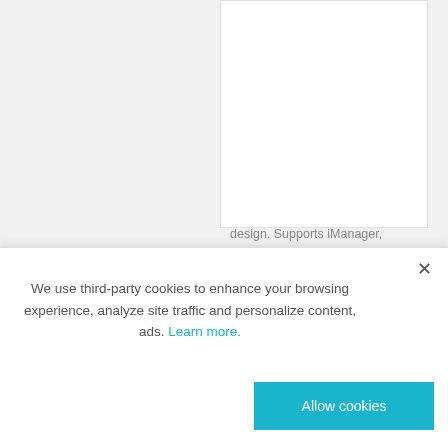Intel Core i5 DC 1.9GHz w/HDMI+LAN+GPIO Intel® Dual Core Celeron 2980U 1.6 GHz / Core i5 4300U 1.9 GHz SoC. One Swappable 2.5" SATA HDD Bay and mSATA slot. Triple Independent Displays by VGA + HDMI + LVDS (LVDS option). Optional VESA / DIN Rail Mounting kits. Supports 2 x Intel GbE and 1 x GPIO. Lockable DC jack design. Supports iManager, SUSIAccess and...
OUT-OF-STOCK
We use third-party cookies to enhance your browsing experience, analyze site traffic and personalize content, ads. Learn more.
Allow cookies